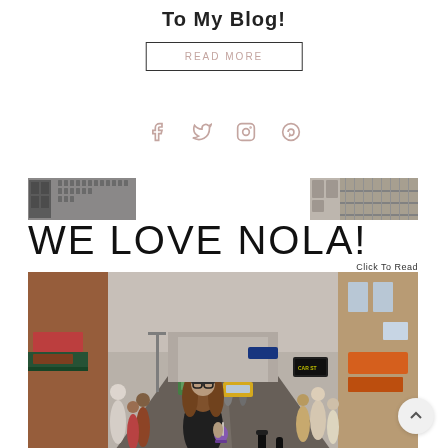To My Blog!
READ MORE
[Figure (other): Social media icons: Facebook, Twitter, Instagram, Pinterest in muted pink/rose color]
[Figure (photo): Blog post card for 'WE LOVE NOLA!' showing two architectural strip photos at top, large text 'WE LOVE NOLA!' with 'Click To Read' link, and a street photo of New Orleans French Quarter with a woman in foreground holding a purple drink]
Click To Read